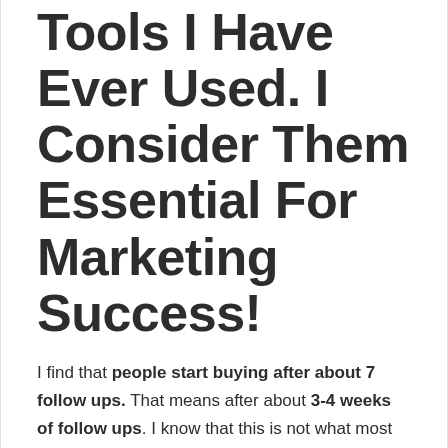Tools I Have Ever Used. I Consider Them Essential For Marketing Success!
I find that people start buying after about 7 follow ups. That means after about 3-4 weeks of follow ups. I know that this is not what most affiliate marketers want to hear but it is the truth. Ask anybody who is making money online